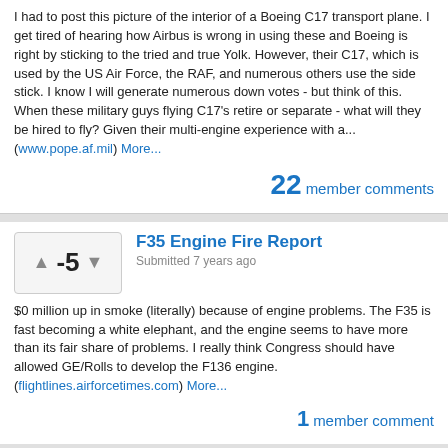I had to post this picture of the interior of a Boeing C17 transport plane. I get tired of hearing how Airbus is wrong in using these and Boeing is right by sticking to the tried and true Yolk. However, their C17, which is used by the US Air Force, the RAF, and numerous others use the side stick. I know I will generate numerous down votes - but think of this. When these military guys flying C17's retire or separate - what will they be hired to fly? Given their multi-engine experience with a... (www.pope.af.mil) More...
22 member comments
F35 Engine Fire Report
Submitted 7 years ago
$0 million up in smoke (literally) because of engine problems. The F35 is fast becoming a white elephant, and the engine seems to have more than its fair share of problems. I really think Congress should have allowed GE/Rolls to develop the F136 engine. (flightlines.airforcetimes.com) More...
1 member comment
Boeing Tanker Delayed - Again